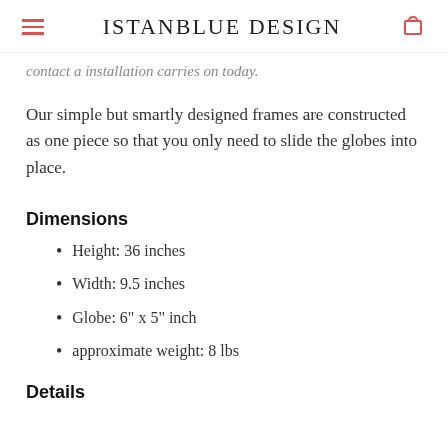ISTANBLUE DESIGN
contact a installation carries on today.
Our simple but smartly designed frames are constructed as one piece so that you only need to slide the globes into place.
Dimensions
Height: 36 inches
Width: 9.5 inches
Globe: 6" x 5" inch
approximate weight: 8 lbs
Details